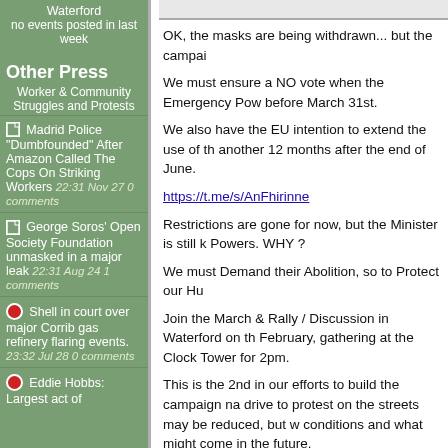Waterford
no events posted in last week
Other Press
Worker & Community Struggles and Protests
Madrid Police "Dumbfounded" After Amazon Called The Cops On Striking Workers 22:31 Nov 27 0 comments
George Soros' Open Society Foundation unmasked in a major leak 22:31 Aug 24 1 comments
Shell in court over major Corrib gas refinery flaring events. 23:32 Jul 28 0 comments
Eddie Hobbs: Largest act of
OK, the masks are being withdrawn... but the campai
We must ensure a NO vote when the Emergency Pow before March 31st.
We also have the EU intention to extend the use of th another 12 months after the end of June.
https://t.me/s/AnFhirinne
Restrictions are gone for now, but the Minister is still k Powers. WHY ?
We must Demand their Abolition, so to Protect our Hu
Join the March & Rally / Discussion in Waterford on th February, gathering at the Clock Tower for 2pm.
This is the 2nd in our efforts to build the campaign na drive to protest on the streets may be reduced, but w conditions and what might come in the future.
Other events take place on 5th March in Cork, on the 19th in Dublin, so pop along and join in.
Sign-up to support the campaign by sending SMS tex TRUTH followed by your Firstname Only and your Co
Related Link: https://civilrights.ie/events/